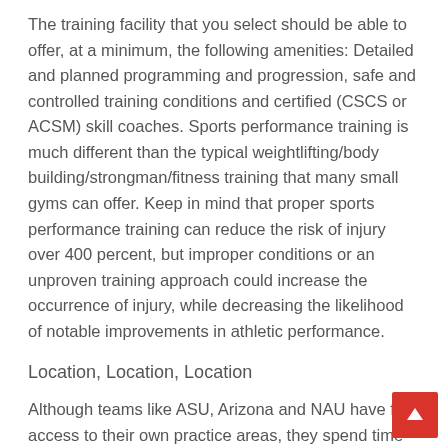The training facility that you select should be able to offer, at a minimum, the following amenities: Detailed and planned programming and progression, safe and controlled training conditions and certified (CSCS or ACSM) skill coaches. Sports performance training is much different than the typical weightlifting/body building/strongman/fitness training that many small gyms can offer. Keep in mind that proper sports performance training can reduce the risk of injury over 400 percent, but improper conditions or an unproven training approach could increase the occurrence of injury, while decreasing the likelihood of notable improvements in athletic performance.
Location, Location, Location
Although teams like ASU, Arizona and NAU have free access to their own practice areas, they spend time indoors, training in dedicated speed facilities – working